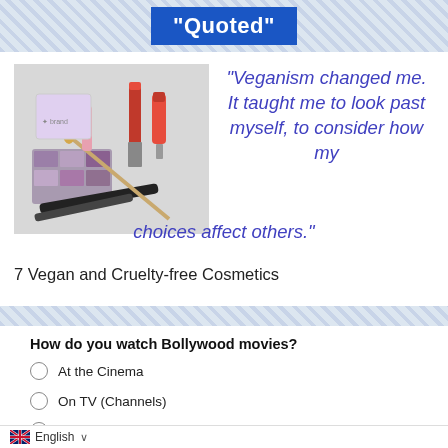"Quoted"
[Figure (photo): Various cosmetics and makeup products including lipstick, nail polish, eyeshadow palette, mascara, and brushes arranged on a white background]
"Veganism changed me. It taught me to look past myself, to consider how my choices affect others."
7 Vegan and Cruelty-free Cosmetics
How do you watch Bollywood movies?
At the Cinema
On TV (Channels)
On DVD
English